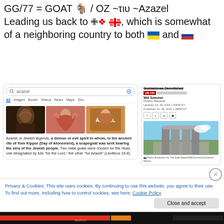GG/77 = GOAT 🐐 / OZ ~τιυ ~Azazel
Leading us back to 🇬🇪, which is somewhat of a neighboring country to both 🇺🇦 and 🇷🇺
[Figure (screenshot): Google search results for 'azazel' showing search bar with tabs (All, Images, Books, Videos, News, Maps, Sho...), three fantasy images of Azazel, and text snippet: 'Azazel, in Jewish legends, a demon or evil spirit to whom, in the ancient rite of Yom Kippur (Day of Atonement), a scapegoat was sent bearing the sins of the Jewish people. Two male goats were chosen for the ritual, one designated by lots "for the Lord," the other "for Azazel" (Leviticus 16:8).']
[Figure (screenshot): Daily Beast news article screenshot showing: headline (partially cut), UN OR label, byline 'Will Sommer - Politics Reporter', dates 'Updated Jul. 06, 2022 1:59PM ET / Published Jul. 06, 2022 1:28PM ET', social share icons (Facebook, Twitter, email, Reddit), and photo of Georgia Guidestones monument with caption 'Photo Illustration by The Daily Beast/WikiCommons/Quentin Mason']
Privacy & Cookies: This site uses cookies. By continuing to use this website, you agree to their use.
To find out more, including how to control cookies, see here: Cookie Policy
Close and accept